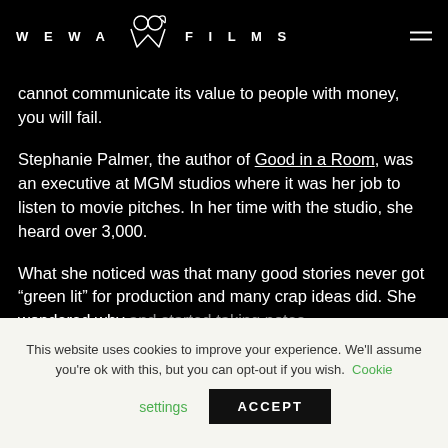WEWA FILMS
cannot communicate its value to people with money, you will fail.
Stephanie Palmer, the author of Good in a Room, was an executive at MGM studios where it was her job to listen to movie pitches. In her time with the studio, she heard over 3,000.
What she noticed was that many good stories never got “green lit” for production and many crap ideas did. She wondered why and started taking notes.
This website uses cookies to improve your experience. We'll assume you're ok with this, but you can opt-out if you wish. Cookie settings ACCEPT